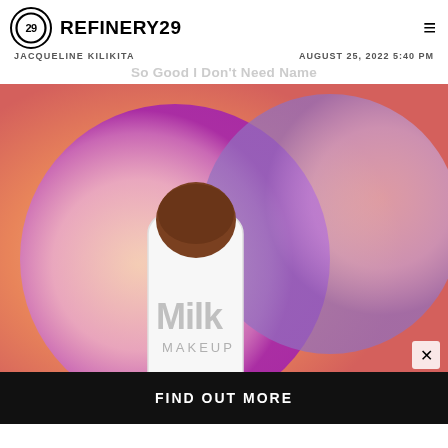REFINERY29
JACQUELINE KILIKITA
AUGUST 25, 2022 5:40 PM
So Good I Don't Need Name
[Figure (photo): Two Milk Makeup products on a colorful peach, purple and pink gradient bubble background. Left: a white Milk Makeup bronzer stick with a brown dome top. Right: a black Milk Makeup tube product with white cream swipe.]
FIND OUT MORE